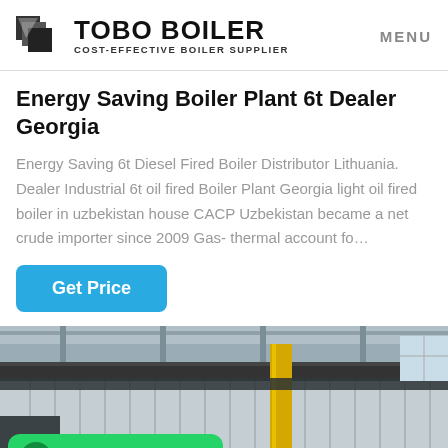TOBO BOILER COST-EFFECTIVE BOILER SUPPLIER | MENU
Energy Saving Boiler Plant 6t Dealer Georgia
Energy Saving 6t Diesel Fired Boiler Distributor Lithuania. Dealer Industrial 6t oil fired Boiler Plant Georgia light oil fired boiler in uzbekistan house CACP Uzbekistan became a net crude importer since 2009 Gas- thermal account fo…
Get Price
[Figure (photo): Industrial boiler plant facility interior showing large corrugated boiler panels with yellow piping and overhead rail system in a factory setting. WhatsApp contact badge overlay in green at bottom left.]